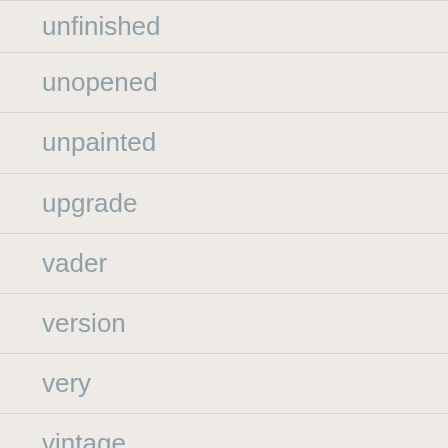unfinished
unopened
unpainted
upgrade
vader
version
very
vintage
vintage197719841985starwarspotflast17lukeskywalkerstormtrooperhelmet